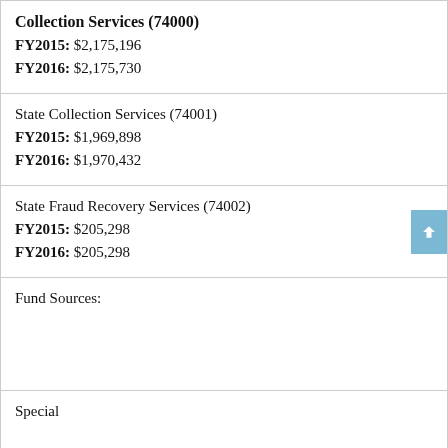Collection Services (74000)
FY2015: $2,175,196
FY2016: $2,175,730
State Collection Services (74001)
FY2015: $1,969,898
FY2016: $1,970,432
State Fraud Recovery Services (74002)
FY2015: $205,298
FY2016: $205,298
Fund Sources:
Special